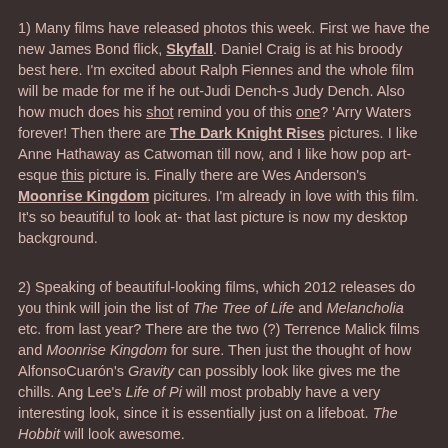1) Many films have released photos this week. First we have the new James Bond flick, Skyfall. Daniel Craig is at his broody best here. I'm excited about Ralph Fiennes and the whole film will be made for me if he out-Judi Dench-s Judy Dench. Also how much does his shot remind you of this one? 'Arry Waters forever! Then there are The Dark Knight Rises pictures. I like Anne Hathaway as Catwoman till now, and I like how pop art-esque this picture is. Finally there are Wes Anderson's Moonrise Kingdom picitures. I'm already in love with this film. It's so beautiful to look at- that last picture is now my desktop background.
2) Speaking of beautiful-looking films, which 2012 releases do you think will join the list of The Tree of Life and Melancholia etc. from last year? There are the two (?) Terrence Malick films and Moonrise Kingdom for sure. Then just the thought of how Alfonso Cuarón's Gravity can possibly look like gives me the chills. Ang Lee's Life of Pi will most probably have a very interesting look, since it is essentially just on a lifeboat. The Hobbit will look awesome.